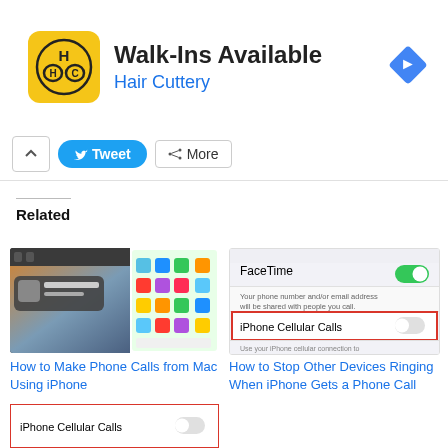[Figure (screenshot): Hair Cuttery advertisement banner with yellow logo, 'Walk-Ins Available' text, Hair Cuttery name in blue, and blue navigation diamond icon]
[Figure (screenshot): Social sharing bar with expand caret, blue Tweet button, and More share button]
Related
[Figure (screenshot): Screenshot of Mac and iPhone showing phone call feature]
How to Make Phone Calls from Mac Using iPhone
[Figure (screenshot): iOS Settings FaceTime screen showing iPhone Cellular Calls toggle highlighted with red border]
How to Stop Other Devices Ringing When iPhone Gets a Phone Call
[Figure (screenshot): Bottom partial screenshot showing iPhone Cellular Calls settings toggle with red border]